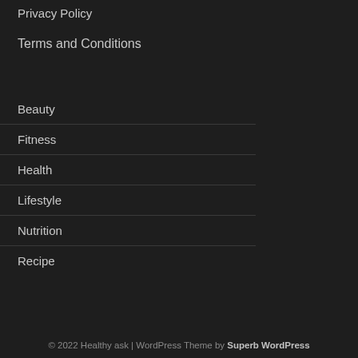Privacy Policy
Terms and Conditions
Beauty
Fitness
Health
Lifestyle
Nutrition
Recipe
© 2022 Healthy ask | WordPress Theme by Superb WordPress